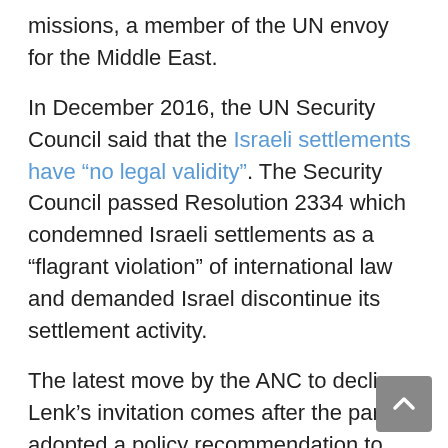missions, a member of the UN envoy for the Middle East.
In December 2016, the UN Security Council said that the Israeli settlements have “no legal validity”. The Security Council passed Resolution 2334 which condemned Israeli settlements as a “flagrant violation” of international law and demanded Israel discontinue its settlement activity.
The latest move by the ANC to decline Lenk’s invitation comes after the party adopted a policy recommendation to downgrade the South African embassy in Israel. The recommendation, which was adopted at the party’s national policy conference in July, was made by the ANC in the Western Cape.
“The initial call by some provinces was that we close our embassy in Israel. However, a consensus